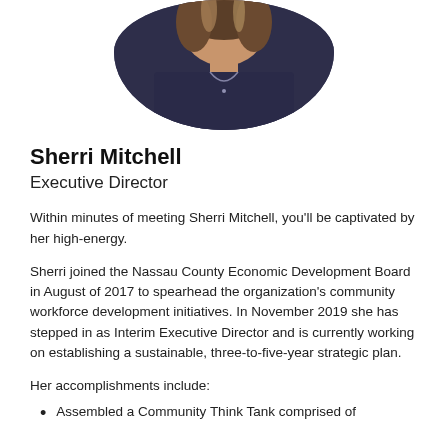[Figure (photo): Circular cropped portrait photo of Sherri Mitchell, a woman with highlighted brown hair wearing a dark navy top and a necklace, photographed against a light background.]
Sherri Mitchell
Executive Director
Within minutes of meeting Sherri Mitchell, you'll be captivated by her high-energy.
Sherri joined the Nassau County Economic Development Board in August of 2017 to spearhead the organization's community workforce development initiatives. In November 2019 she has stepped in as Interim Executive Director and is currently working on establishing a sustainable, three-to-five-year strategic plan.
Her accomplishments include:
Assembled a Community Think Tank comprised of